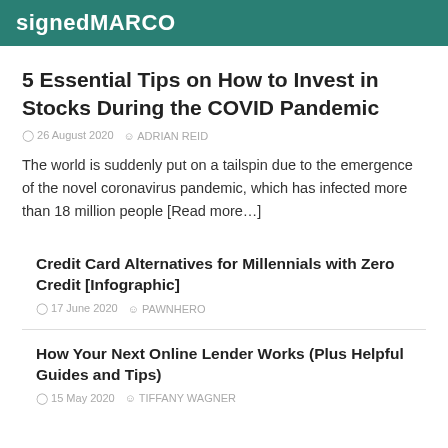signedMARCO
5 Essential Tips on How to Invest in Stocks During the COVID Pandemic
26 August 2020   ADRIAN REID
The world is suddenly put on a tailspin due to the emergence of the novel coronavirus pandemic, which has infected more than 18 million people [Read more...]
Credit Card Alternatives for Millennials with Zero Credit [Infographic]
17 June 2020   PAWNHERO
How Your Next Online Lender Works (Plus Helpful Guides and Tips)
15 May 2020   TIFFANY WAGNER